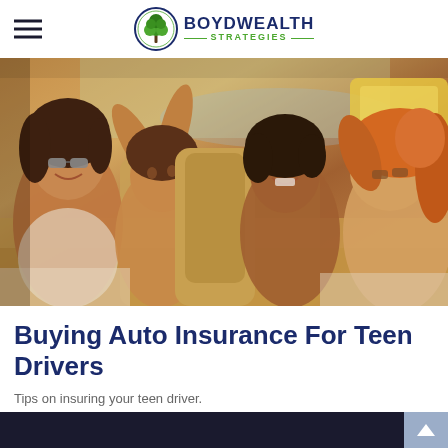Boyd Wealth Strategies
[Figure (photo): Group of smiling young people (teens) riding in an open convertible car, enjoying themselves outdoors on a sunny day.]
Buying Auto Insurance For Teen Drivers
Tips on insuring your teen driver.